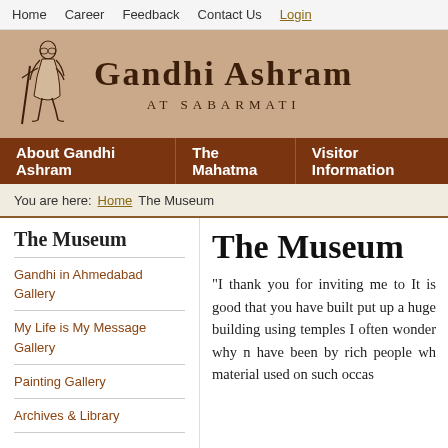Home  Career  Feedback  Contact Us  Login
GANDHI ASHRAM AT SABARMATI
About Gandhi Ashram  The Mahatma  Visitor Information
You are here: Home  The Museum
The Museum
Gandhi in Ahmedabad Gallery
My Life is My Message Gallery
Painting Gallery
Archives & Library
The Museum
"I thank you for inviting me to It is good that you have built put up a huge building using temples I often wonder why n have been by rich people wh material used on such occas